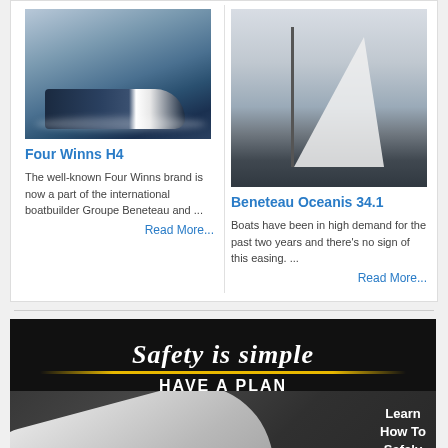[Figure (photo): Speedboat (Four Winns H4) on water, aerial/side view, dark blue hull with white wake]
Four Winns H4
The well-known Four Winns brand is now a part of the international boatbuilder Groupe Beneteau and ...
Read More...
[Figure (photo): Sailboat (Beneteau Oceanis 34.1) with large white sail, sailing on open water]
Beneteau Oceanis 34.1
Boats have been in high demand for the past two years and there’s no sign of this easing. ...
Read More...
[Figure (infographic): Safety is simple HAVE A PLAN advertisement banner with aerial view of boat and text Learn How To Safely Dock]